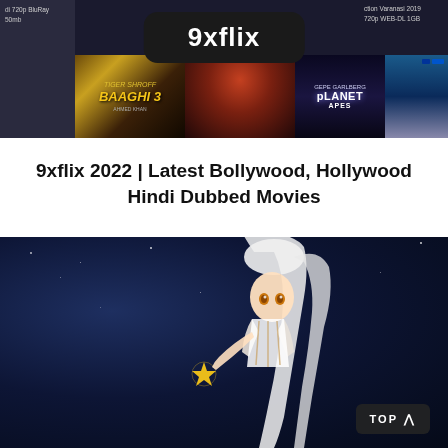[Figure (screenshot): 9xflix website banner showing movie poster collage with logo overlay. Visible movie posters include Baaghi 3, Planet of the Apes, and others. A dark rounded banner with '9xflix' text in white is centered over the collage.]
9xflix 2022 | Latest Bollywood, Hollywood Hindi Dubbed Movies
[Figure (screenshot): Anime character with white hair holding a glowing golden star-shaped object, set against a dark night sky background. A 'TOP ^' button is visible in the bottom right corner.]